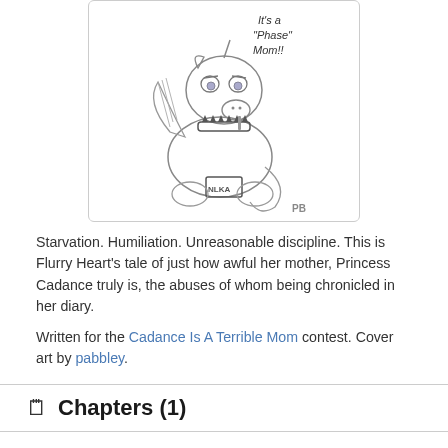[Figure (illustration): Hand-drawn sketch of a cartoon pony character (Flurry Heart) wearing a spiked collar and a t-shirt with text on it, with wings visible. Speech bubble text reads: It's a "Phase" Mom!. Artist initials 'PB' in lower right corner.]
Starvation. Humiliation. Unreasonable discipline. This is Flurry Heart's tale of just how awful her mother, Princess Cadance truly is, the abuses of whom being chronicled in her diary.
Written for the Cadance Is A Terrible Mom contest. Cover art by pabbley.
Chapters (1)